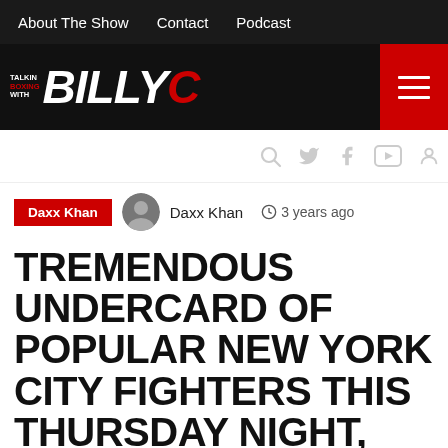About The Show   Contact   Podcast
[Figure (logo): Talkin Boxing With Billy C logo on black background with hamburger menu button]
Social icons: search, twitter, facebook, youtube, user
Daxx Khan   Daxx Khan   3 years ago
TREMENDOUS UNDERCARD OF POPULAR NEW YORK CITY FIGHTERS THIS THURSDAY NIGHT, DECEMBER 5